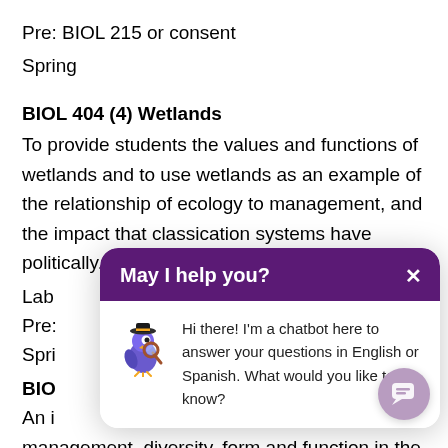Pre: BIOL 215 or consent
Spring
BIOL 404 (4) Wetlands
To provide students the values and functions of wetlands and to use wetlands as an example of the relationship of ecology to management, and the impact that classication systems have politically. Lab Pre: [partially obscured] ent Spri[ng partially obscured]
[Figure (screenshot): Chatbot popup overlay with purple header 'May I help you?' and close X button. Body shows a bird/chatbot icon and text: Hi there! I'm a chatbot here to answer your questions in English or Spanish. What would you like to know?]
BIO[partially obscured]
An i[partially obscured] s
management, diversity, form and function in the